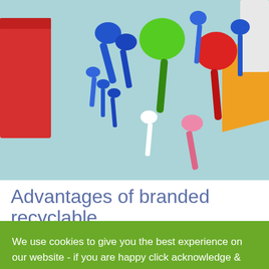[Figure (photo): Colorful plastic measuring spoons and scoops in blue, green, red, pink, and white scattered on a light blue background, with a red container on the left and orange/yellow items on the right.]
Advantages of branded recyclable
We use cookies to give you the best experience on our website - if you are happy click acknowledge & accept. Alternatively, you can find more information in our privacy policy.